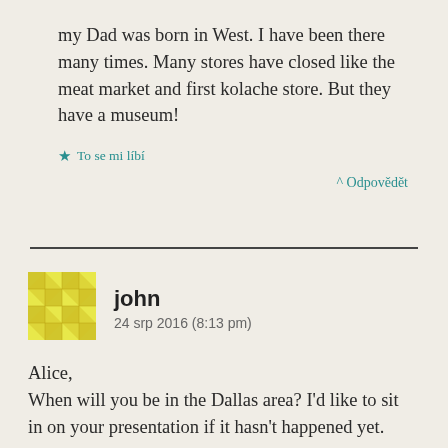my Dad was born in West. I have been there many times. Many stores have closed like the meat market and first kolache store. But they have a museum!
★ To se mi líbí
^ Odpovědět
john
24 srp 2016 (8:13 pm)
Alice,
When will you be in the Dallas area? I'd like to sit in on your presentation if it hasn't happened yet.
★ To se mi líbí
^ Odpovědět